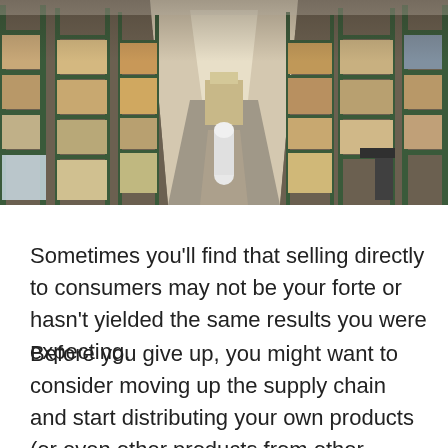[Figure (photo): Interior of a warehouse with tall green metal shelving racks on both sides filled with boxes and palletized goods, viewed from a central aisle perspective. Concrete floor visible in the center aisle with a pallet jack and cylindrical object.]
Sometimes you'll find that selling directly to consumers may not be your forte or hasn't yielded the same results you were expecting.
Before you give up, you might want to consider moving up the supply chain and start distributing your own products (or even other products from other companies) to other retailers. Usually, due to the increased volume